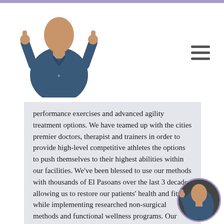[Figure (photo): Doctor or medical professional wearing scrubs giving thumbs up, shown in header area]
performance exercises and advanced agility treatment options. We have teamed up with the cities premier doctors, therapist and trainers in order to provide high-level competitive athletes the options to push themselves to their highest abilities within our facilities. We've been blessed to use our methods with thousands of El Pasoans over the last 3 decades allowing us to restore our patients' health and fitness while implementing researched non-surgical methods and functional wellness programs. Our programs are natural and use the body's ability to achieve specific measured goals, rather than
[Figure (photo): Small circular avatar of medical professional in bottom right corner]